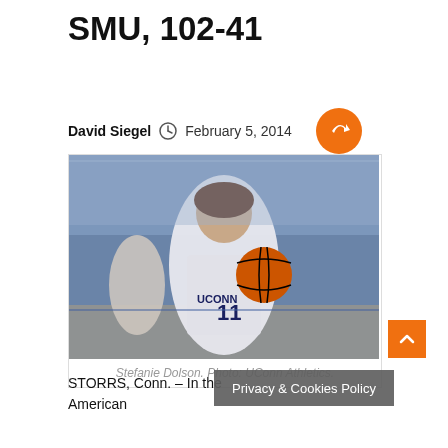SMU, 102-41
David Siegel  February 5, 2014
[Figure (photo): UConn women's basketball player Stefanie Dolson holding a basketball during a game, with crowd in background]
Stefanie Dolson. Photo: UConn Athletics.
STORRS, Conn. – In the  American
Privacy & Cookies Policy